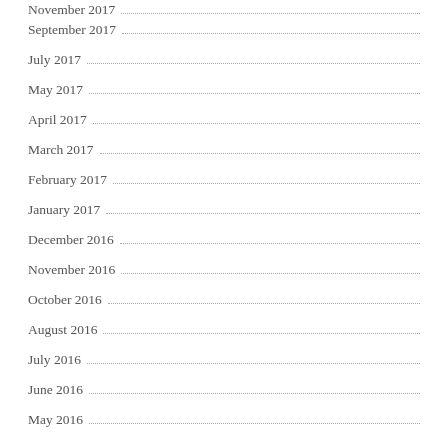November 2017
September 2017
July 2017
May 2017
April 2017
March 2017
February 2017
January 2017
December 2016
November 2016
October 2016
August 2016
July 2016
June 2016
May 2016